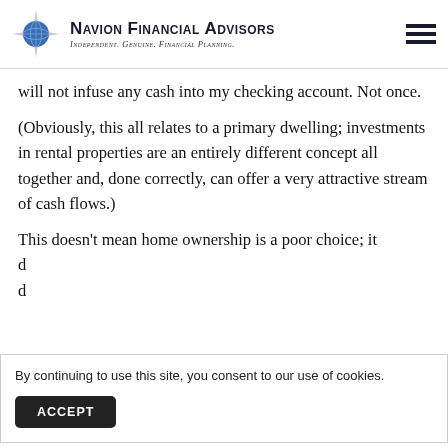NAVION FINANCIAL ADVISORS — Independent. Genuine. Financial Planning.
will not infuse any cash into my checking account. Not once.
(Obviously, this all relates to a primary dwelling; investments in rental properties are an entirely different concept all together and, done correctly, can offer a very attractive stream of cash flows.)
This doesn't mean home ownership is a poor choice; it
By continuing to use this site, you consent to our use of cookies.
ACCEPT